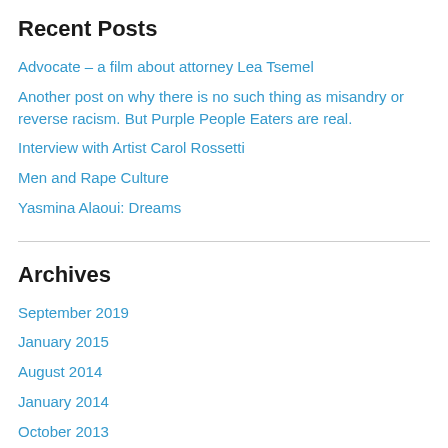Recent Posts
Advocate – a film about attorney Lea Tsemel
Another post on why there is no such thing as misandry or reverse racism. But Purple People Eaters are real.
Interview with Artist Carol Rossetti
Men and Rape Culture
Yasmina Alaoui: Dreams
Archives
September 2019
January 2015
August 2014
January 2014
October 2013
September 2013
August 2013
July 2013